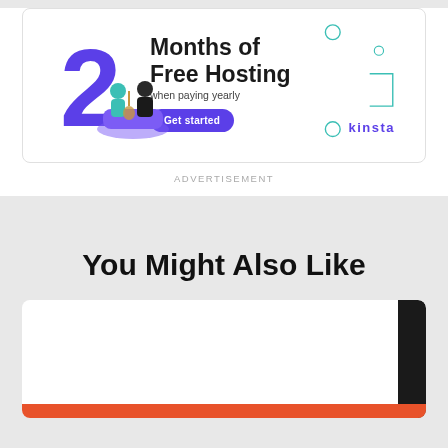[Figure (illustration): Advertisement banner for Kinsta hosting: large purple numeral 2, two illustrated figures sitting on a purple couch, bold text '2 Months of Free Hosting when paying yearly', a 'Get started' button, teal decorative geometric shapes, and Kinsta logo.]
ADVERTISEMENT
You Might Also Like
[Figure (illustration): White card with black tab on right edge and orange bar at bottom, representing a partially visible article card.]